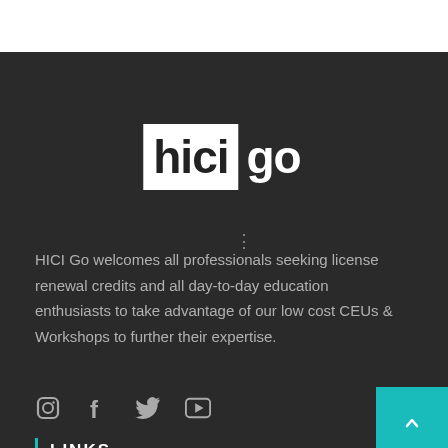[Figure (logo): HICIgo logo — 'hici' in bold dark text on white background box, 'go' in bold white text on dark background]
HICI Go welcomes all professionals seeking license renewal credits and all day-to-day education enthusiasts to take advantage of our low cost CEUs & Workshops to further their expertise.
[Figure (infographic): Social media icons: Instagram, Facebook, Twitter, YouTube]
[Figure (other): Teal back-to-top button with upward chevron arrow]
LINKS
ALL COURSES